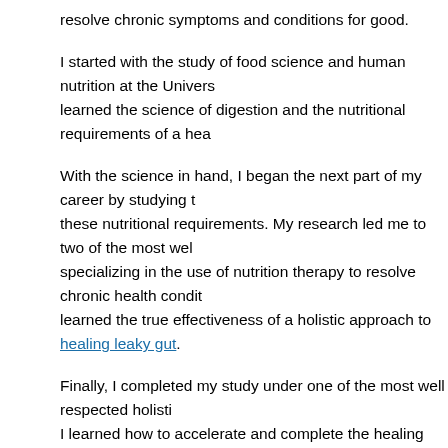resolve chronic symptoms and conditions for good.
I started with the study of food science and human nutrition at the University… learned the science of digestion and the nutritional requirements of a healthy body.
With the science in hand, I began the next part of my career by studying the foods to meet these nutritional requirements. My research led me to two of the most well-known doctors specializing in the use of nutrition therapy to resolve chronic health conditions. I learned the true effectiveness of a holistic approach to healing leaky gut.
Finally, I completed my study under one of the most well respected holistic… I learned how to accelerate and complete the healing process.
Every step of the way, I tested what I had learned on my own health problems. From start to finish, I had finally put together the complete formula of the b… this common problem that affects millions of people each day.
If you are currently managing your chronic symptoms with little relief, then… root cause of the problem. All the while, the problem and symptoms are o…